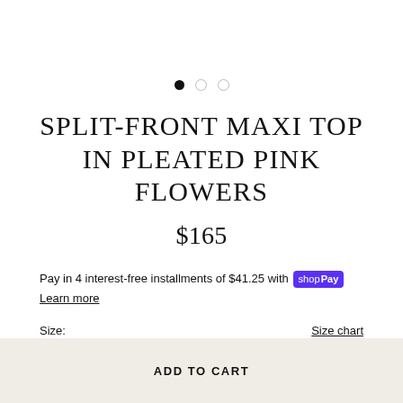[Figure (other): Carousel dot indicators: one filled black dot and two empty/outline dots]
SPLIT-FRONT MAXI TOP IN PLEATED PINK FLOWERS
$165
Pay in 4 interest-free installments of $41.25 with Shop Pay
Learn more
Size:
Size chart
S/M
L/XL
ADD TO CART